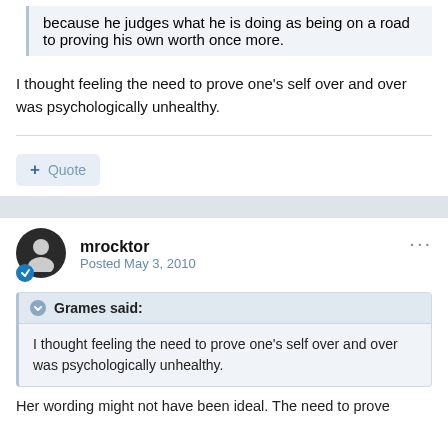because he judges what he is doing as being on a road to proving his own worth once more.
I thought feeling the need to prove one's self over and over was psychologically unhealthy.
Quote
mrocktor
Posted May 3, 2010
Grames said:
I thought feeling the need to prove one's self over and over was psychologically unhealthy.
Her wording might not have been ideal. The need to prove